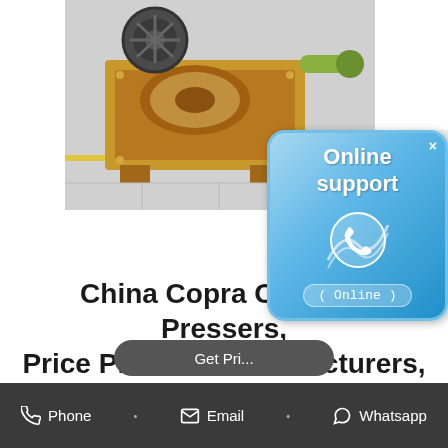[Figure (photo): Photo of a yellow/brown industrial oil press machine (copra oil presser) on a factory floor]
[Figure (infographic): Online support badge - blue rounded rectangle with phone icon and 'Online support (Online)' text]
China Copra Oil Price Pressers, Price Pressers Manufacturers, Suppliers, Price
China Copra Oil Price Pressers manufacturers - Select 2021 high quality Copra Oil Price Pressers products in best price from certified Chinese Oil Production Equipment, Oil Press Machine suppliers, wholesalers and factory
Phone  •  Email  •  Whatsapp